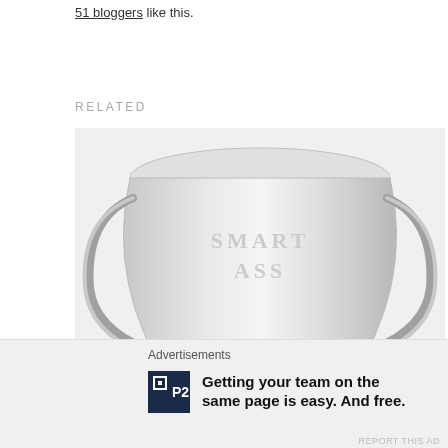51 bloggers like this.
RELATED
[Figure (photo): Close-up photo of a glass/crystal trophy cup with text 'SMART ASS' engraved on it, showing handles and stem on a white background]
Hosting An Award!
Jun 10, 2020
Advertisements
Getting your team on the same page is easy. And free.